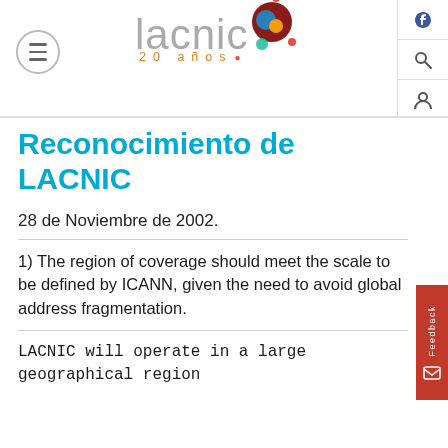LACNIC 20 años
Reconocimiento de LACNIC
28 de Noviembre de 2002.
1) The region of coverage should meet the scale to be defined by ICANN, given the need to avoid global address fragmentation.
LACNIC will operate in a large geographical region